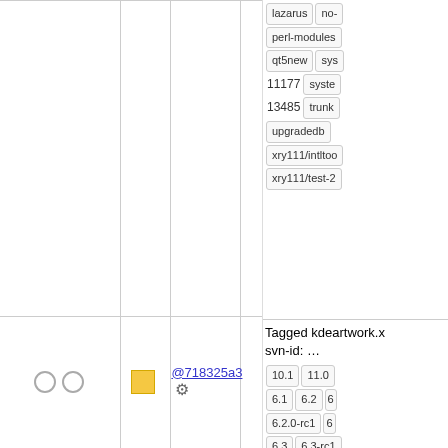|  |  |  | commit |  | age | author |
| --- | --- | --- | --- | --- | --- | --- |
| ○ ○ | ■ | @718325a3 ⚙ | 17 years | manuel |
lazarus  no-
perl-modules
qt5new  sys
11177  syste
13485  trunk
upgradedb
xry111/intltoo
xry111/test-2
Tagged kdeartwork.x svn-id: ...
10.1  11.0
6.1  6.2  6
6.2.0-rc1  6
6.3  6.3-rc1
rc2  6.3-rc3
7.4  7.5  7
7.6-blfs  7.6
systemd  7.7
7.9  8.0  8
8.2  8.3  8
9.0  9.1  9
bdubbs/svn
gnome  kde
kde5-14269
14686  krejzi
lazarus  no-
perl-modules
qt5new  sy